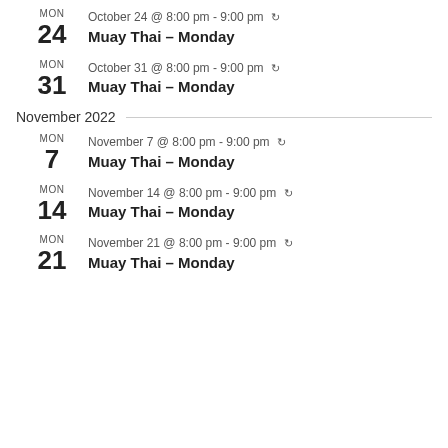MON 24 — October 24 @ 8:00 pm - 9:00 pm ↻ — Muay Thai – Monday
MON 31 — October 31 @ 8:00 pm - 9:00 pm ↻ — Muay Thai – Monday
November 2022
MON 7 — November 7 @ 8:00 pm - 9:00 pm ↻ — Muay Thai – Monday
MON 14 — November 14 @ 8:00 pm - 9:00 pm ↻ — Muay Thai – Monday
MON 21 — November 21 @ 8:00 pm - 9:00 pm ↻ — Muay Thai – Monday